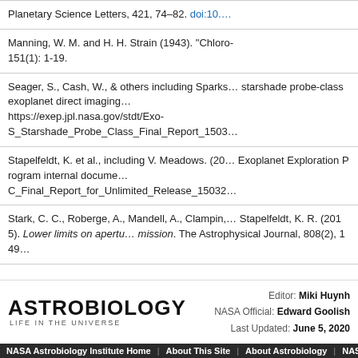Planetary Science Letters, 421, 74–82. doi:10.…
Manning, W. M. and H. H. Strain (1943). "Chloro… 151(1): 1-19.
Seager, S., Cash, W., & others including Sparks… starshade probe-class exoplanet direct imaging… https://exep.jpl.nasa.gov/stdt/Exo-S_Starshade_Probe_Class_Final_Report_1503…
Stapelfeldt, K. et al., including V. Meadows. (20… Exoplanet Exploration Program internal docume… C_Final_Report_for_Unlimited_Release_15032…
Stark, C. C., Roberge, A., Mandell, A., Clampin,… Stapelfeldt, K. R. (2015). Lower limits on apertu… mission. The Astrophysical Journal, 808(2), 149…
ASTROBIOLOGY LIFE IN THE UNIVERSE | Editor: Miki Huynh | NASA Official: Edward Goolish | Last Updated: June 5, 2020
NASA Astrobiology Institute Home | About This Site | About Astrobiology | NASA Home